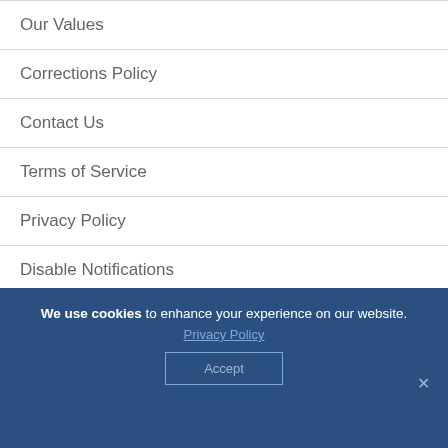Our Values
Corrections Policy
Contact Us
Terms of Service
Privacy Policy
Disable Notifications
We use cookies to enhance your experience on our website. Privacy Policy Accept ×